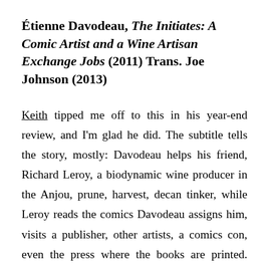Étienne Davodeau, The Initiates: A Comic Artist and a Wine Artisan Exchange Jobs (2011) Trans. Joe Johnson (2013)
Keith tipped me off to this in his year-end review, and I'm glad he did. The subtitle tells the story, mostly: Davodeau helps his friend, Richard Leroy, a biodynamic wine producer in the Anjou, prune, harvest, decan tinker, while Leroy reads the comics Davodeau assigns him, visits a publisher, other artists, a comics con, even the press where the books are printed. Each learns to appreciate the labour that goes